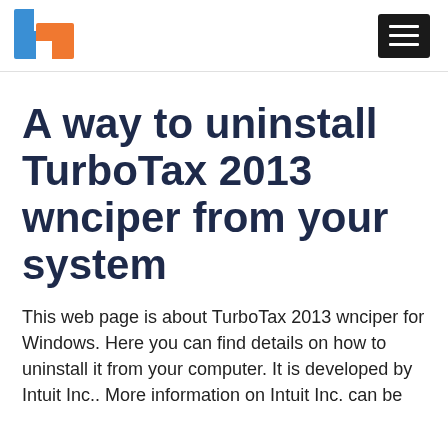[Figure (logo): App uninstall info site logo — blue and orange overlapping squares/rectangles forming a stylized icon]
A way to uninstall TurboTax 2013 wnciper from your system
This web page is about TurboTax 2013 wnciper for Windows. Here you can find details on how to uninstall it from your computer. It is developed by Intuit Inc.. More information on Intuit Inc. can be